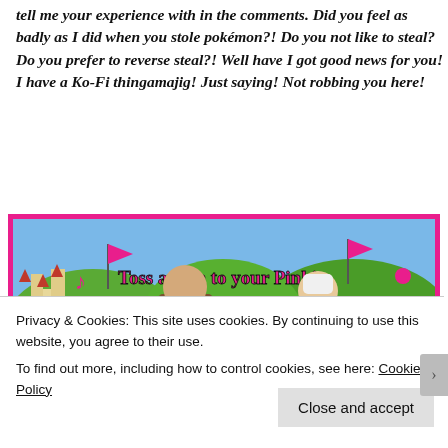tell me your experience with in the comments. Did you feel as badly as I did when you stole pokémon?! Do you not like to steal? Do you prefer to reverse steal?! Well have I got good news for you! I have a Ko-Fi thingamajig! Just saying! Not robbing you here!
[Figure (illustration): Illustrated image with pink border showing anime-style characters including a warrior and a white-haired woman in a fantasy forest setting, with a chibi pink-haired character in front. Text overlay reads 'Toss a coin to your Pinkie' in pink pixel font with musical note.]
Privacy & Cookies: This site uses cookies. By continuing to use this website, you agree to their use.
To find out more, including how to control cookies, see here: Cookie Policy